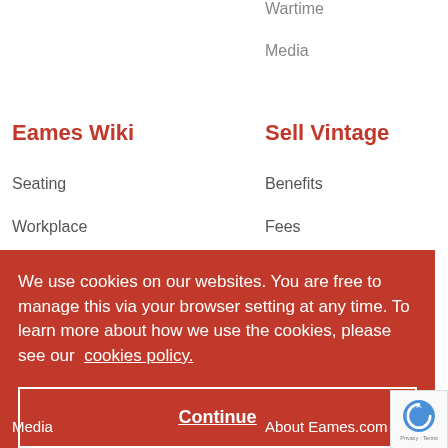Wartime
Media
Eames Wiki
Sell Vintage
Seating
Benefits
Workplace
Fees
We use cookies on our websites. You are free to manage this via your browser setting at any time. To learn more about how we use the cookies, please see our cookies policy.
Continue
Media
About Eames.com